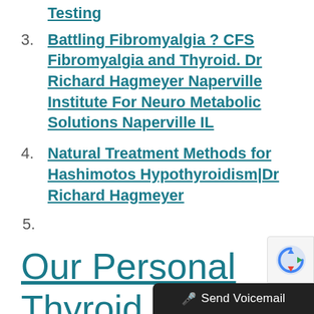Testing
3. Battling Fibromyalgia ? CFS Fibromyalgia and Thyroid.  Dr Richard Hagmeyer  Naperville Institute For Neuro Metabolic Solutions Naperville IL
4. Natural Treatment Methods for Hashimotos Hypothyroidism|Dr Richard Hagmeyer
5.
Our Personal Thyroid Treat...